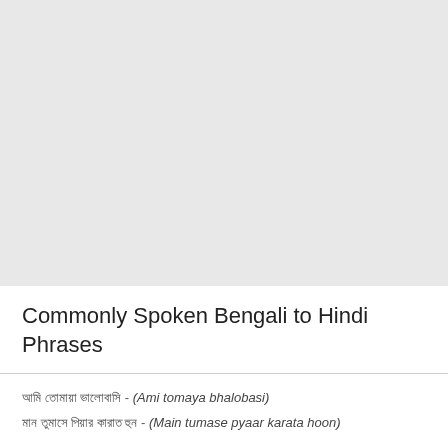Commonly Spoken Bengali to Hindi Phrases
আমি তোমায়া ভালোবাসি - (Ami tomaya bhalobasi)
মান তুমাসে পিয়ার কারাত হুন - (Main tumase pyaar karata hoon)